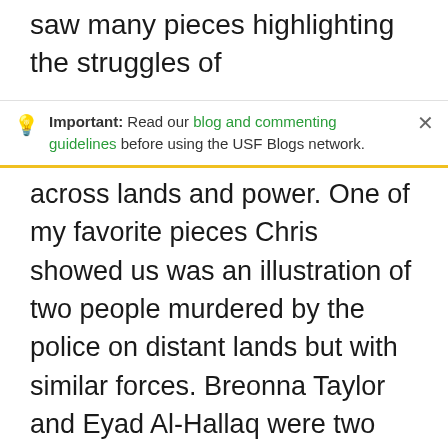saw many pieces highlighting the struggles of
Important: Read our blog and commenting guidelines before using the USF Blogs network.
across lands and power. One of my favorite pieces Chris showed us was an illustration of two people murdered by the police on distant lands but with similar forces. Breonna Taylor and Eyad Al-Hallaq were two beautiful lives, unarmed, their voices taken by militant violence. This piece reminds us that the key to liberation is your tied to mine, and our liberation is tied to all.

The last mural we visited was located near the freeway entrance to Elgin Park near Market Street. A powerful message of Palestinian